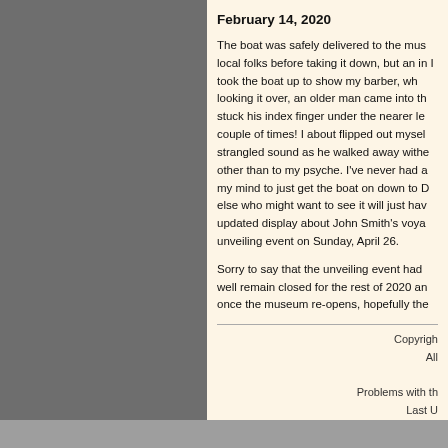February 14, 2020
The boat was safely delivered to the mus local folks before taking it down, but an in I took the boat up to show my barber, wh looking it over, an older man came into th stuck his index finger under the nearer le couple of times! I about flipped out mysel strangled sound as he walked away withe other than to my psyche. I've never had a my mind to just get the boat on down to D else who might want to see it will just hav updated display about John Smith's voya unveiling event on Sunday, April 26.
Sorry to say that the unveiling event had well remain closed for the rest of 2020 an once the museum re-opens, hopefully the
Copyrigh All Problems with th Last U